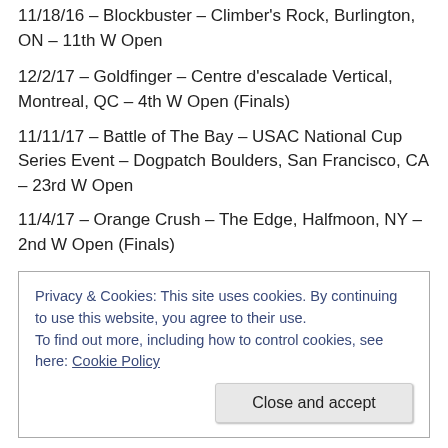11/18/16 – Blockbuster – Climber's Rock, Burlington, ON – 11th W Open
12/2/17 – Goldfinger – Centre d'escalade Vertical, Montreal, QC – 4th W Open (Finals)
11/11/17 – Battle of The Bay – USAC National Cup Series Event – Dogpatch Boulders, San Francisco, CA – 23rd W Open
11/4/17 – Orange Crush – The Edge, Halfmoon, NY – 2nd W Open (Finals)
Privacy & Cookies: This site uses cookies. By continuing to use this website, you agree to their use. To find out more, including how to control cookies, see here: Cookie Policy